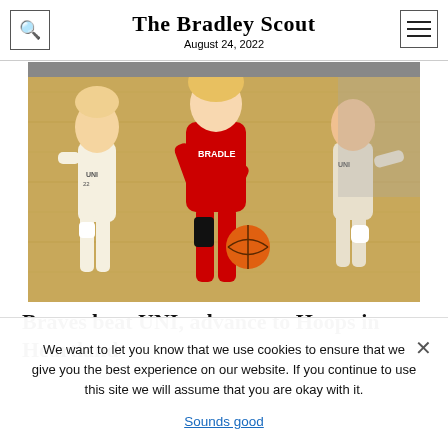The Bradley Scout
August 24, 2022
[Figure (photo): A Bradley University women's basketball player in a red jersey dribbling the ball past UNI defenders on a hardwood court.]
Braves beat UNI, advance to Hoops in Heartland
We want to let you know that we use cookies to ensure that we give you the best experience on our website. If you continue to use this site we will assume that you are okay with it.
Sounds good